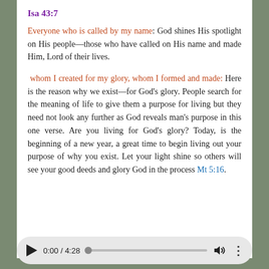Isa 43:7
Everyone who is called by my name: God shines His spotlight on His people—those who have called on His name and made Him, Lord of their lives.
whom I created for my glory, whom I formed and made: Here is the reason why we exist—for God's glory. People search for the meaning of life to give them a purpose for living but they need not look any further as God reveals man's purpose in this one verse. Are you living for God's glory? Today, is the beginning of a new year, a great time to begin living out your purpose of why you exist. Let your light shine so others will see your good deeds and glory God in the process Mt 5:16.
[Figure (other): Audio player bar showing play button, time 0:00 / 4:28, progress track, volume icon, and more options icon]